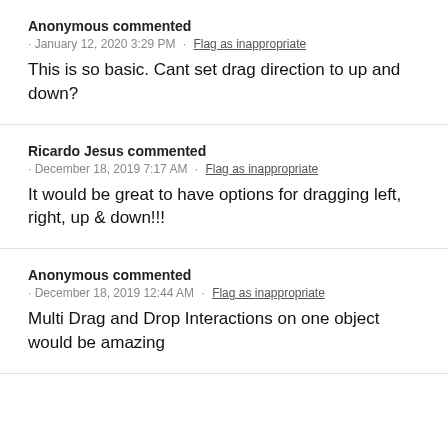Anonymous commented
· January 12, 2020 3:29 PM · Flag as inappropriate
This is so basic. Cant set drag direction to up and down?
Ricardo Jesus commented
· December 18, 2019 7:17 AM · Flag as inappropriate
It would be great to have options for dragging left, right, up & down!!!
Anonymous commented
· December 18, 2019 12:44 AM · Flag as inappropriate
Multi Drag and Drop Interactions on one object would be amazing